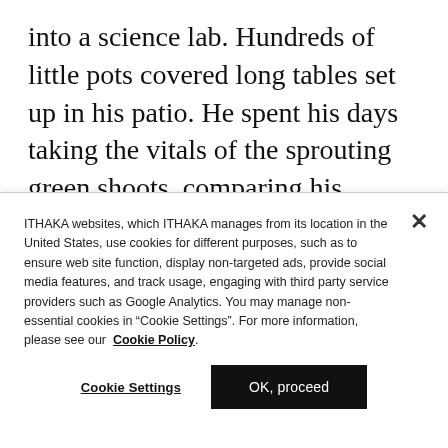into a science lab. Hundreds of little pots covered long tables set up in his patio. He spent his days taking the vitals of the sprouting green shoots, comparing his watering records, planting different varieties together and logging the results. At some point, he stopped inviting friends over because part of the house was
ITHAKA websites, which ITHAKA manages from its location in the United States, use cookies for different purposes, such as to ensure web site function, display non-targeted ads, provide social media features, and track usage, engaging with third party service providers such as Google Analytics. You may manage non-essential cookies in “Cookie Settings”. For more information, please see our Cookie Policy.
Cookie Settings
OK, proceed